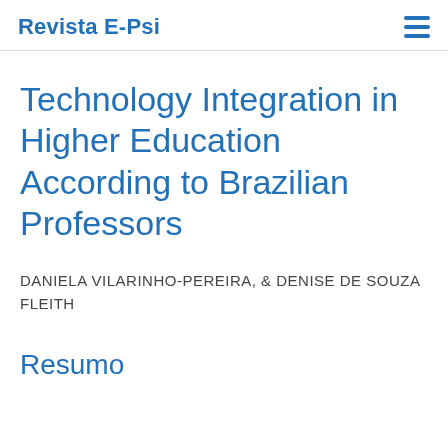Revista E-Psi
Technology Integration in Higher Education According to Brazilian Professors
DANIELA VILARINHO-PEREIRA, & DENISE DE SOUZA FLEITH
Resumo